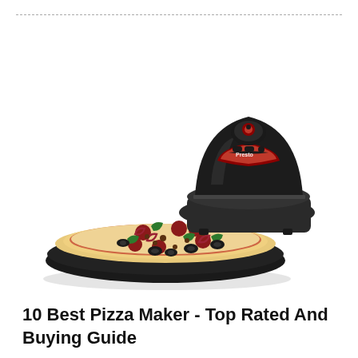[Figure (photo): A black rotating pizza maker appliance (Presto brand) with a circular non-stick baking tray extended, holding a fully topped pizza with pepperoni, olives, green peppers, red onions, and ground beef. The appliance lid is open and the tray slides out from the base unit.]
10 Best Pizza Maker - Top Rated And Buying Guide